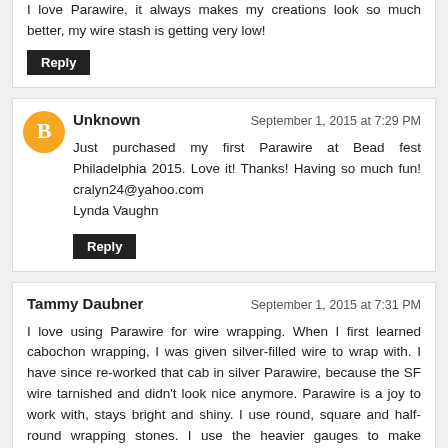I love Parawire, it always makes my creations look so much better, my wire stash is getting very low!
Reply
Unknown
September 1, 2015 at 7:29 PM
Just purchased my first Parawire at Bead fest Philadelphia 2015. Love it! Thanks! Having so much fun! cralyn24@yahoo.com Lynda Vaughn
Reply
Tammy Daubner
September 1, 2015 at 7:31 PM
I love using Parawire for wire wrapping. When I first learned cabochon wrapping, I was given silver-filled wire to wrap with. I have since re-worked that cab in silver Parawire, because the SF wire tarnished and didn't look nice anymore. Parawire is a joy to work with, stays bright and shiny. I use round, square and half-round wrapping stones. I use the heavier gauges to make findings, and frames for pendants and bracelets. I use really fine gauges